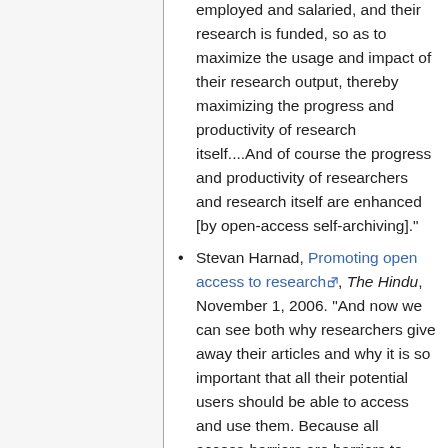employed and salaried, and their research is funded, so as to maximize the usage and impact of their research output, thereby maximizing the progress and productivity of research itself....And of course the progress and productivity of researchers and research itself are enhanced [by open-access self-archiving]."
Stevan Harnad, Promoting open access to research, The Hindu, November 1, 2006. "And now we can see both why researchers give away their articles and why it is so important that all their potential users should be able to access and use them. Because all access-barriers are barriers to research progress and its...